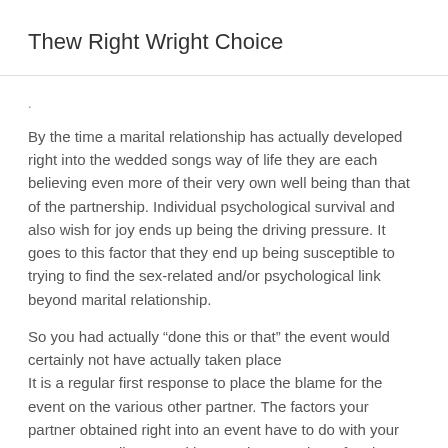Thew Right Wright Choice
.
By the time a marital relationship has actually developed right into the wedded songs way of life they are each believing even more of their very own well being than that of the partnership. Individual psychological survival and also wish for joy ends up being the driving pressure. It goes to this factor that they end up being susceptible to trying to find the sex-related and/or psychological link beyond marital relationship.
So you had actually “done this or that” the event would certainly not have actually taken place
It is a regular first response to place the blame for the event on the various other partner. The factors your partner obtained right into an event have to do with your partner as well as not with you. There are lots of various other manner ins which heartache in a marital relationship might have been dealt with.
Since I have actually finished the event, whatever is great